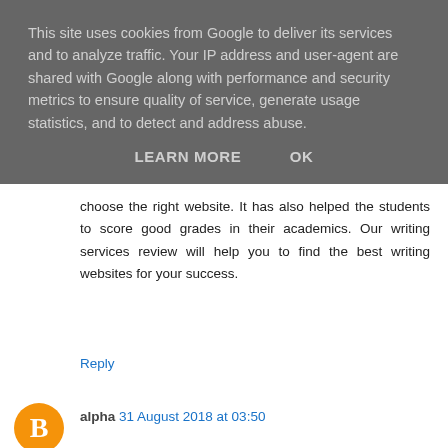This site uses cookies from Google to deliver its services and to analyze traffic. Your IP address and user-agent are shared with Google along with performance and security metrics to ensure quality of service, generate usage statistics, and to detect and address abuse.
LEARN MORE   OK
choose the right website. It has also helped the students to score good grades in their academics. Our writing services review will help you to find the best writing websites for your success.
Reply
alpha 31 August 2018 at 03:50
Very Nice Article keep sharing this post kindly check bluetooth gadgets
Reply